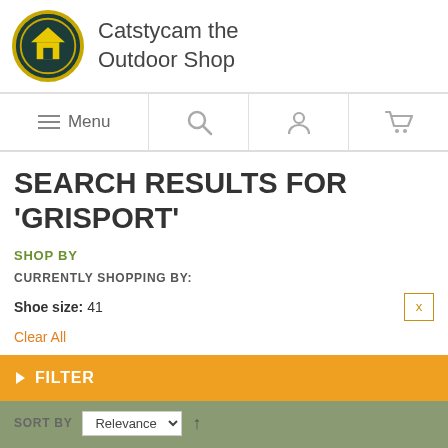[Figure (logo): Catstycam circular logo with yellow house icon on dark green background with yellow border ring]
Catstycam the Outdoor Shop
Menu | Search | Account | Cart navigation icons
SEARCH RESULTS FOR 'GRISPORT'
SHOP BY
CURRENTLY SHOPPING BY:
Shoe size: 41
Clear All
FILTER
SORT BY Relevance ↑